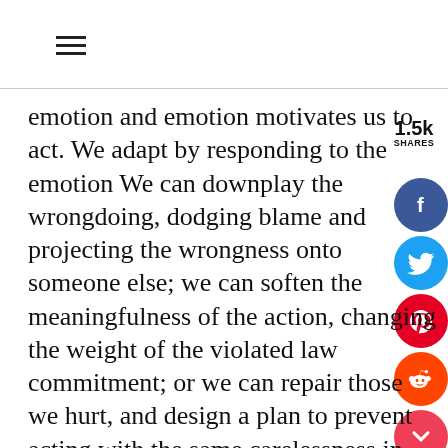≡
emotion and emotion motivates us to act. We adapt by responding to the emotion We can downplay the wrongdoing, dodging blame and projecting the wrongness onto someone else; we can soften the meaningfulness of the action, changing the weight of the violated law commitment; or we can repair those we hurt, and design a plan to prevent acting with the same carelessness in the future.
It should be obvious from the safety of this article which path is most advantageous for personal growth. In the midst of the chaos of living, the action, the emotional, and our adaptive response